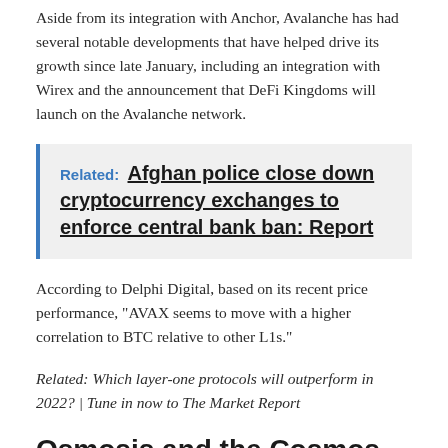Aside from its integration with Anchor, Avalanche has had several notable developments that have helped drive its growth since late January, including an integration with Wirex and the announcement that DeFi Kingdoms will launch on the Avalanche network.
Related: Afghan police close down cryptocurrency exchanges to enforce central bank ban: Report
According to Delphi Digital, based on its recent price performance, "AVAX seems to move with a higher correlation to BTC relative to other L1s."
Related: Which layer-one protocols will outperform in 2022? | Tune in now to The Market Report
Osmosis and the Cosmos ecosystem
Data from Delphi Digital shows that Osmosis, a